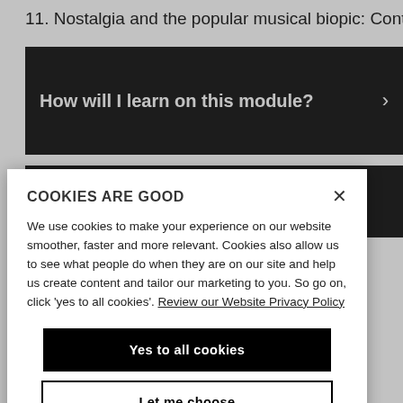11. Nostalgia and the popular musical biopic: Control
How will I learn on this module?
How will I be supported academically
COOKIES ARE GOOD
We use cookies to make your experience on our website smoother, faster and more relevant. Cookies also allow us to see what people do when they are on our site and help us create content and tailor our marketing to you. So go on, click 'yes to all cookies'. Review our Website Privacy Policy
Yes to all cookies
Let me choose